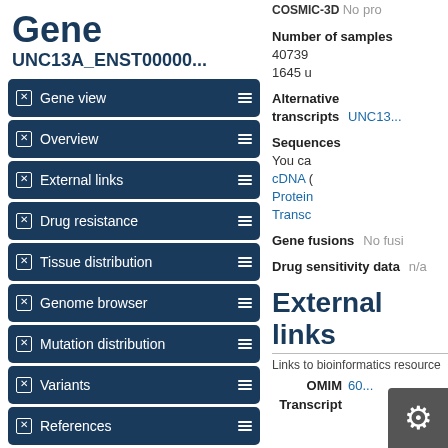Gene
UNC13A_ENST00000...
Gene view
Overview
External links
Drug resistance
Tissue distribution
Genome browser
Mutation distribution
Variants
References
Reset page
Search
Search COSMIC...
COSMIC-3D  No pro
Number of samples  40739 1645 u
Alternative transcripts  UNC13...
Sequences  You ca cDNA ( Protein Transc
Gene fusions  No fusi
Drug sensitivity data  n/a
External links
Links to bioinformatics resource
OMIM  60...
Transcript...